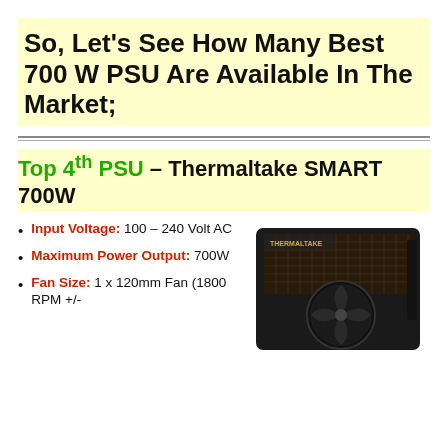So, Let’s See How Many Best 700 W PSU Are Available In The Market;
Top 4th PSU – Thermaltake SMART 700W
Input Voltage: 100 – 240 Volt AC
Maximum Power Output: 700W
Fan Size: 1 x 120mm Fan (1800 RPM +/-
[Figure (photo): Thermaltake SMART 700W power supply unit, black with mesh grill and 120mm fan visible]